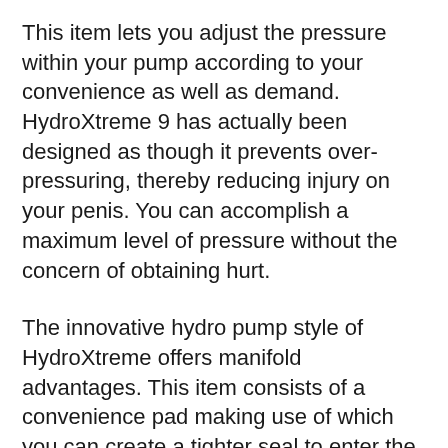This item lets you adjust the pressure within your pump according to your convenience as well as demand. HydroXtreme 9 has actually been designed as though it prevents over-pressuring, thereby reducing injury on your penis. You can accomplish a maximum level of pressure without the concern of obtaining hurt.
The innovative hydro pump style of HydroXtreme offers manifold advantages. This item consists of a convenience pad making use of which you can create a tighter seal to enter the pump.
The strong style of this pump sees to it that you would certainly attain greater efficiency in bed over time. The shutoff of this penis